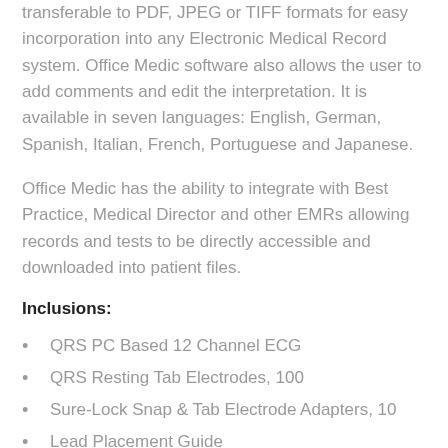transferable to PDF, JPEG or TIFF formats for easy incorporation into any Electronic Medical Record system. Office Medic software also allows the user to add comments and edit the interpretation. It is available in seven languages: English, German, Spanish, Italian, French, Portuguese and Japanese.
Office Medic has the ability to integrate with Best Practice, Medical Director and other EMRs allowing records and tests to be directly accessible and downloaded into patient files.
Inclusions:
QRS PC Based 12 Channel ECG
QRS Resting Tab Electrodes, 100
Sure-Lock Snap & Tab Electrode Adapters, 10
Lead Placement Guide